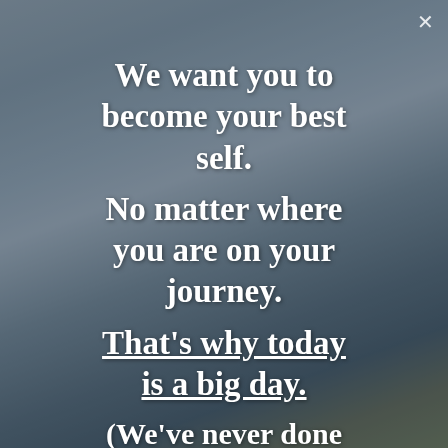[Figure (photo): A woman doing a yoga pose on a beach or coastal area, stretching one arm upward against a grey ocean and sky background. The image is dimmed/overlaid with a dark semi-transparent filter.]
We want you to become your best self.

No matter where you are on your journey.

That's why today is a big day.

(We've never done